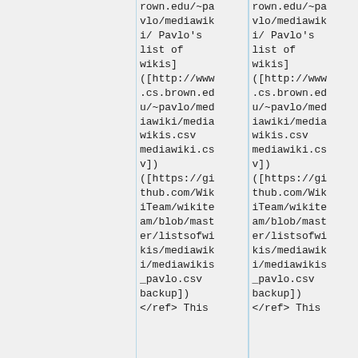rown.edu/~pavlo/mediawiki/ Pavlo's list of wikis]([http://www.cs.brown.edu/~pavlo/mediawiki/mediawikis.csv mediawiki.csv])([https://github.com/WikiTeam/wikiteam/blob/master/listsofwikis/mediawiki/mediawikis_pavlo.csv backup])</ref> This
rown.edu/~pavlo/mediawiki/ Pavlo's list of wikis]([http://www.cs.brown.edu/~pavlo/mediawiki/mediawikis.csv mediawiki.csv])([https://github.com/WikiTeam/wikiteam/blob/master/listsofwikis/mediawiki/mediawikis_pavlo.csv backup])</ref> This